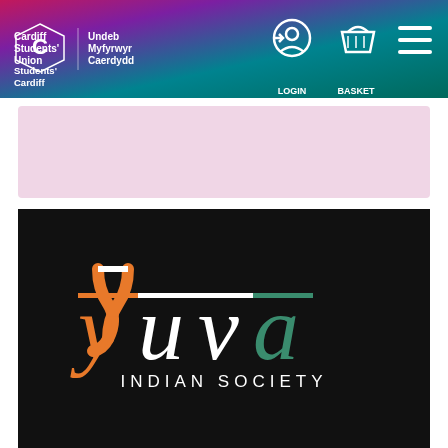[Figure (logo): Cardiff Students' Union / Undeb Myfyrwyr Caerdydd header bar with logo, login, basket, and menu icons]
[Figure (illustration): Pink/mauve empty banner area]
[Figure (logo): Yuva Indian Society logo on black background — stylized 'yuva' lettering in orange, white, and green with 'INDIAN SOCIETY' subtitle in white]